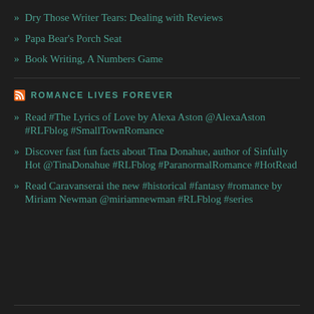Dry Those Writer Tears: Dealing with Reviews
Papa Bear's Porch Seat
Book Writing, A Numbers Game
ROMANCE LIVES FOREVER
Read #The Lyrics of Love by Alexa Aston @AlexaAston #RLFblog #SmallTownRomance
Discover fast fun facts about Tina Donahue, author of Sinfully Hot @TinaDonahue #RLFblog #ParanormalRomance #HotRead
Read Caravanserai the new #historical #fantasy #romance by Miriam Newman @miriamnewman #RLFblog #series